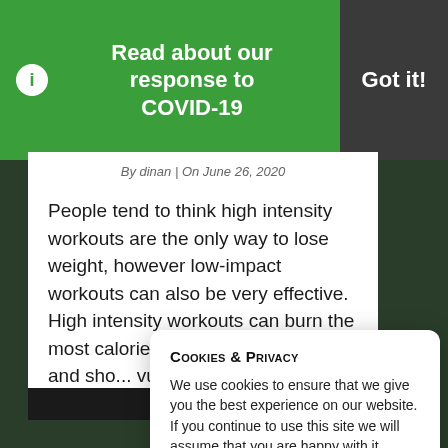Read about our response to COVID-19
Got it!
By dinan | On June 26, 2020
People tend to think high intensity workouts are the only way to lose weight, however low-impact workouts can also be very effective. High intensity workouts can burn the most calories in the lea... major s... and sho... vulnera...
Cookies & Privacy
We use cookies to ensure that we give you the best experience on our website. If you continue to use this site we will assume that you are happy with it.
Read More
Got it